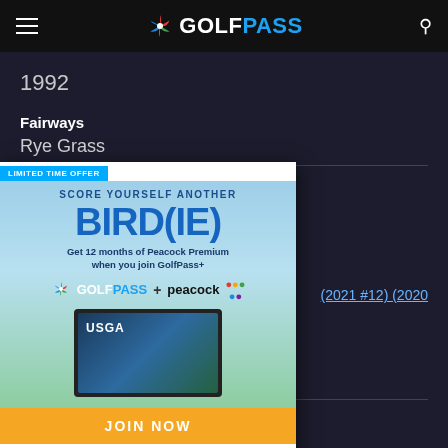GolfPass
1992
Fairways
Rye Grass
[Figure (screenshot): GolfPass advertisement overlay: 'LIMITED TIME OFFER - SCORE YOURSELF ANOTHER BIRD(IE) - Get 12 months of Peacock Premium when you join GolfPass+ - GOLFPASS + peacock - JOIN NOW - $4.99/mo. va. us. Eligibility restrictions and terms apply.']
(2021 #12) (2020